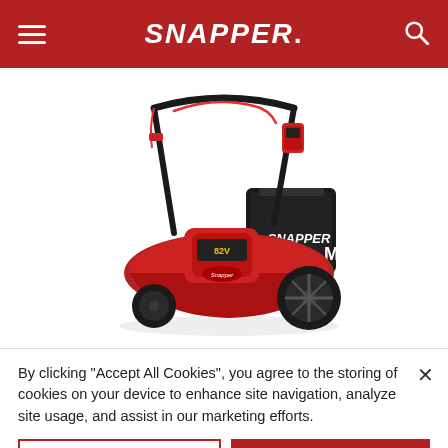SNAPPER.
[Figure (photo): Snapper 82V electric cordless self-propelled lawn mower, red and black, with battery attached, rear bag, black handle with red cable, shown at angle on white background]
By clicking “Accept All Cookies”, you agree to the storing of cookies on your device to enhance site navigation, analyze site usage, and assist in our marketing efforts.
Cookies Settings
Accept All Cookies